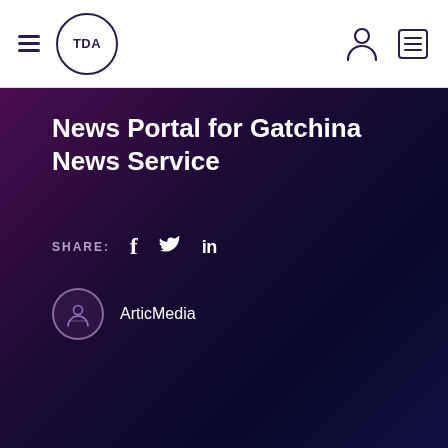TDA — Navigation header with hamburger menu, TDA logo, person icon, list icon
News Portal for Gatchina News Service
SHARE:  f  𝕏  in
ArticMedia